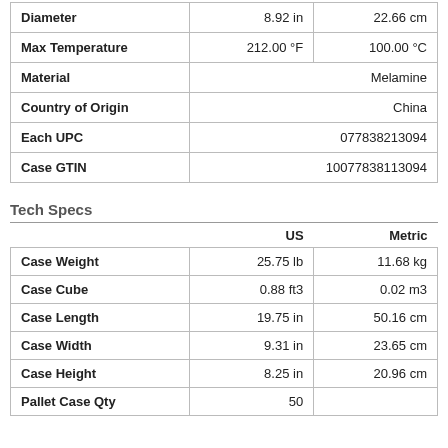|  | US | Metric |
| --- | --- | --- |
| Diameter | 8.92 in | 22.66 cm |
| Max Temperature | 212.00 °F | 100.00 °C |
| Material | Melamine |  |
| Country of Origin | China |  |
| Each UPC | 077838213094 |  |
| Case GTIN | 10077838113094 |  |
Tech Specs
|  | US | Metric |
| --- | --- | --- |
| Case Weight | 25.75 lb | 11.68 kg |
| Case Cube | 0.88 ft3 | 0.02 m3 |
| Case Length | 19.75 in | 50.16 cm |
| Case Width | 9.31 in | 23.65 cm |
| Case Height | 8.25 in | 20.96 cm |
| Pallet Case Qty | 50 |  |